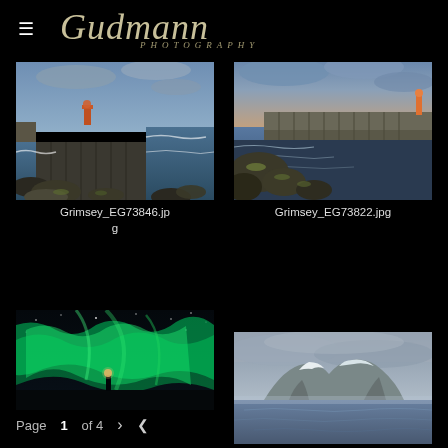Gudmann Photography
[Figure (photo): Coastal cliffs with orange lighthouse at Grimsey Iceland, rough sea waves, dark volcanic rocks]
Grimsey_EG73846.jpg
[Figure (photo): Rocky coastline at Grimsey Iceland with stone pier and lighthouse, blue-purple twilight sky]
Grimsey_EG73822.jpg
[Figure (photo): Northern lights aurora borealis in green over Icelandic landscape with lighthouse silhouette]
[Figure (photo): Snow-capped mountain island across calm grey water under overcast sky]
Page 1 of 4